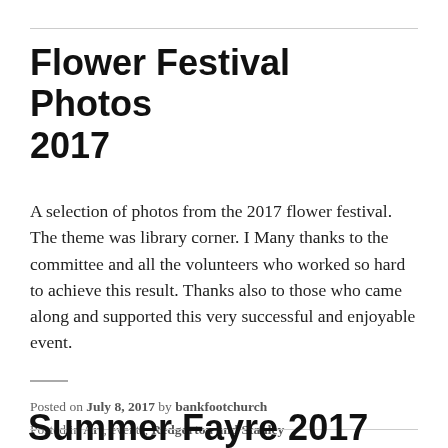Flower Festival Photos 2017
A selection of photos from the 2017 flower festival. The theme was library corner. I Many thanks to the committee and all the volunteers who worked so hard to achieve this result. Thanks also to those who came along and supported this very successful and enjoyable event.
Posted on July 8, 2017 by bankfootchurch
Posted in Art, events, Redgorton and Stanley
Tagged Art, flowers, fundraiser, summer.
Summer Fayre 2017